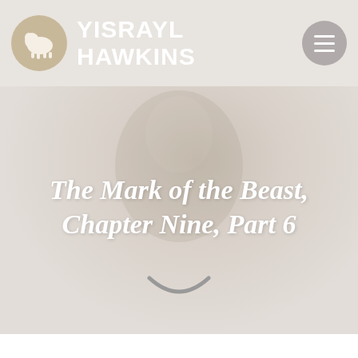YISRAYL HAWKINS
The Mark of the Beast, Chapter Nine, Part 6
[Figure (illustration): Faint background hero image of a person, very light and washed out, serving as a decorative background behind the title text. A small downward-curved arc/scroll indicator shape appears below the title.]